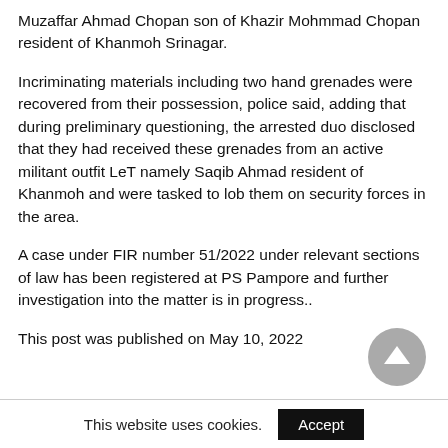Muzaffar Ahmad Chopan son of Khazir Mohmmad Chopan resident of Khanmoh Srinagar.
Incriminating materials including two hand grenades were recovered from their possession, police said, adding that during preliminary questioning, the arrested duo disclosed that they had received these grenades from an active militant outfit LeT namely Saqib Ahmad resident of Khanmoh and were tasked to lob them on security forces in the area.
A case under FIR number 51/2022 under relevant sections of law has been registered at PS Pampore and further investigation into the matter is in progress..
This post was published on May 10, 2022
This website uses cookies.  Accept